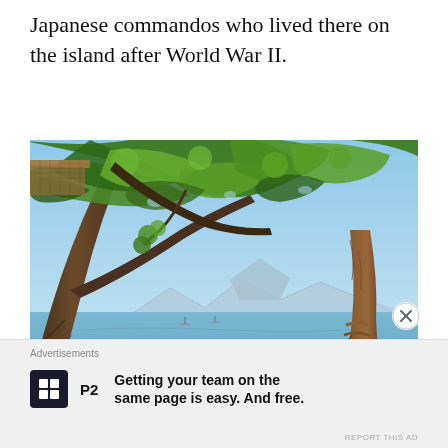Japanese commandos who lived there on the island after World War II.
[Figure (photo): Tropical beach scene viewed from under large trees with spreading branches and green canopy. Blue ocean visible in background with mountains on the horizon and boats on the water. A rope hammock is visible hanging from the trees. Golden hour lighting.]
Advertisements
[Figure (logo): P2 logo — dark square with white grid/table icon, followed by bold text 'P2']
Getting your team on the same page is easy. And free.